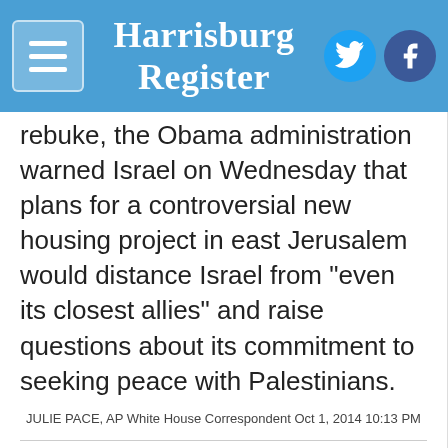Harrisburg Register
rebuke, the Obama administration warned Israel on Wednesday that plans for a controversial new housing project in east Jerusalem would distance Israel from "even its closest allies" and raise questions about its commitment to seeking peace with Palestinians.
JULIE PACE, AP White House Correspondent Oct 1, 2014 10:13 PM
Iraqi Kurds